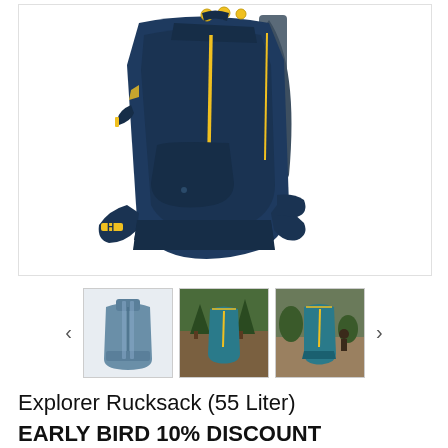[Figure (photo): Main product image of a navy blue and yellow hiking backpack (Explorer Rucksack 55 Liter) shown from the front-side angle against a white background. The pack features yellow zipper pulls, compression straps, hip belt with yellow accents, and a padded back panel with shoulder straps.]
[Figure (photo): Thumbnail 1: Small image of the same navy blue backpack shown from the back/side against a light background.]
[Figure (photo): Thumbnail 2: Small image of the teal/blue backpack being worn outdoors in a forest/camping setting.]
[Figure (photo): Thumbnail 3: Small image of the teal/blue backpack shown in an outdoor setting with people in the background.]
Explorer Rucksack (55 Liter)
EARLY BIRD 10% DISCOUNT